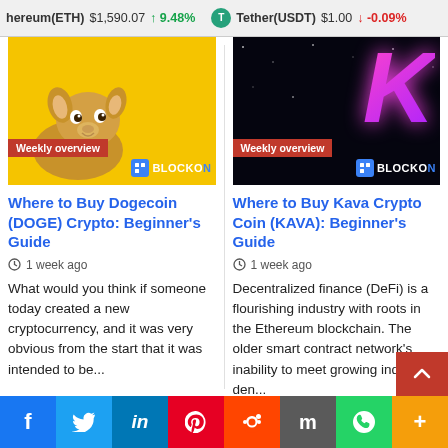hereum(ETH) $1,590.07 ↑ 9.48%   Tether(USDT) $1.00 ↓ -0.09%
[Figure (photo): Dogecoin article thumbnail: yellow background with Shiba Inu doge dog and BlockOn logo. Red 'Weekly overview' badge.]
Where to Buy Dogecoin (DOGE) Crypto: Beginner's Guide
1 week ago
What would you think if someone today created a new cryptocurrency, and it was very obvious from the start that it was intended to be...
[Figure (photo): Kava Crypto article thumbnail: black background with neon/glowing letter K and BlockOn logo. Red 'Weekly overview' badge.]
Where to Buy Kava Crypto Coin (KAVA): Beginner's Guide
1 week ago
Decentralized finance (DeFi) is a flourishing industry with roots in the Ethereum blockchain. The older smart contract network's inability to meet growing industry den...
f  Twitter  in  Pinterest  Reddit  Mix  WhatsApp  +